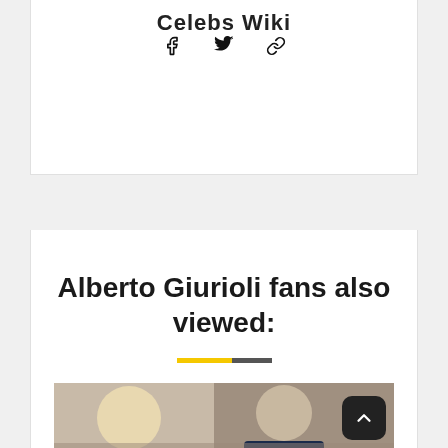Celebs Wiki
[Figure (other): Social media icons: Facebook (f), Twitter (bird), and a link/chain icon]
Alberto Giurioli fans also viewed:
[Figure (photo): Photo of a blonde woman and a man in a suit in a crowd, partial view cropped at bottom of page]